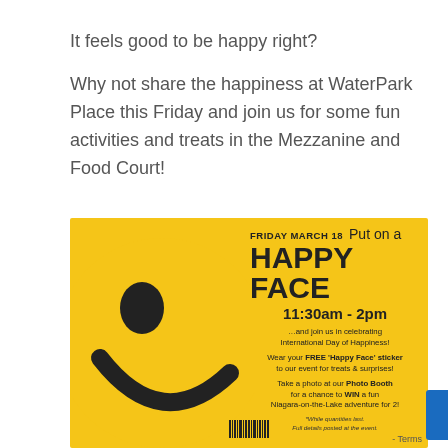It feels good to be happy right?
Why not share the happiness at WaterPark Place this Friday and join us for some fun activities and treats in the Mezzanine and Food Court!
[Figure (illustration): Yellow promotional poster for 'Put on a Happy Face' event on Friday March 18, 11:30am - 2pm at WaterPark Place. Features a large smiley face on yellow background with event details including International Day of Happiness celebration, free Happy Face sticker, Photo Booth for a chance to win a Niagara-on-the-Lake adventure for 2. Small print: While quantities last. Full details posted at the event.]
- Terms